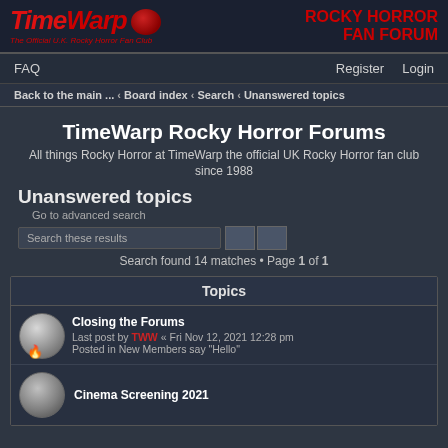[Figure (logo): TimeWarp Rocky Horror Fan Forum logo with red stylized text and circular emblem]
FAQ  Register  Login
Back to the main ... ‹ Board index ‹ Search ‹ Unanswered topics
TimeWarp Rocky Horror Forums
All things Rocky Horror at TimeWarp the official UK Rocky Horror fan club since 1988
Unanswered topics
Go to advanced search
Search found 14 matches • Page 1 of 1
| Topics |
| --- |
| Closing the Forums | Last post by TWW « Fri Nov 12, 2021 12:28 pm | Posted in New Members say "Hello" |
| Cinema Screening 2021 |  |  |